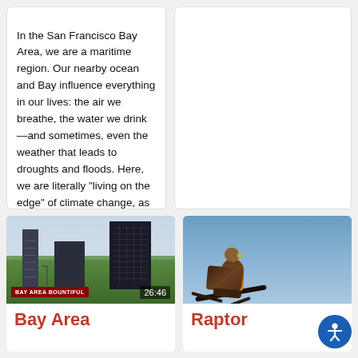In the San Francisco Bay Area, we are a maritime region. Our nearby ocean and Bay influence everything in our lives: the air we breathe, the water we drink—and sometimes, even the weather that leads to droughts and floods. Here, we are literally "living on the edge" of climate change, as sea level r...
[Figure (photo): Empty white card placeholder on the right side of the top row]
[Figure (screenshot): Video thumbnail showing Bay Area city skyline with buildings and green trees, with 'BAY AREA BOUNTIFUL' text overlay and timestamp 26:46]
Bay Area
[Figure (photo): Photo of a raptor bird of prey perched on a branch against a blue sky background]
Raptor